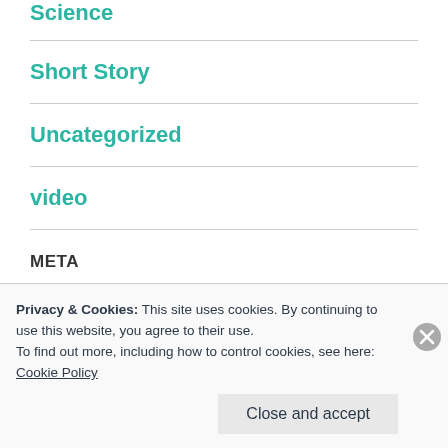Science
Short Story
Uncategorized
video
META
Register
Privacy & Cookies: This site uses cookies. By continuing to use this website, you agree to their use.
To find out more, including how to control cookies, see here:
Cookie Policy
Close and accept